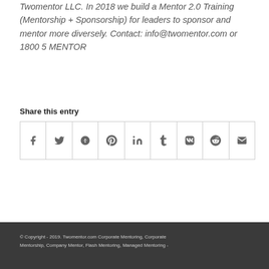Twomentor LLC. In 2018 we build a Mentor 2.0 Training (Mentorship + Sponsorship) for leaders to sponsor and mentor more diversely. Contact: info@twomentor.com or 1800 5 MENTOR
Share this entry
[Figure (other): Social share icons row: Facebook, Twitter, Google+, Pinterest, LinkedIn, Tumblr, VK, Reddit, Email]
© Copyright - 2019. Twomentor.com Corporate Mentoring, Corporate Mentorship, Company Mentor, Flash Mentoring, Managed Mentoring -